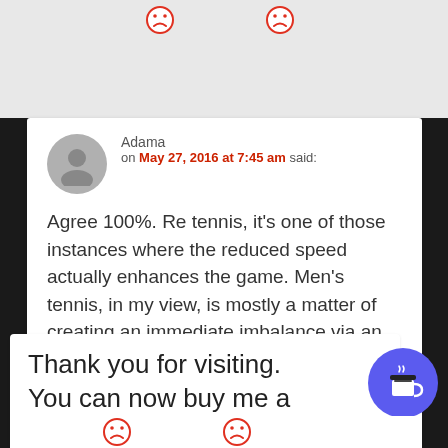[Figure (other): Two red frowning face emoji icons in top grey bar]
Adama
on May 27, 2016 at 7:45 am said:
Agree 100%. Re tennis, it's one of those instances where the reduced speed actually enhances the game. Men's tennis, in my view, is mostly a matter of creating an immediate imbalance via an incredibly powerful serve. The play tends to be less interesting because of it; blistering serve followed by desperate return followed by kill shot. With women, the serves are far
Thank you for visiting. You can now buy me a coffee!
[Figure (illustration): Blue circular button with coffee cup icon]
[Figure (other): Two red frowning face emoji icons in bottom bar]